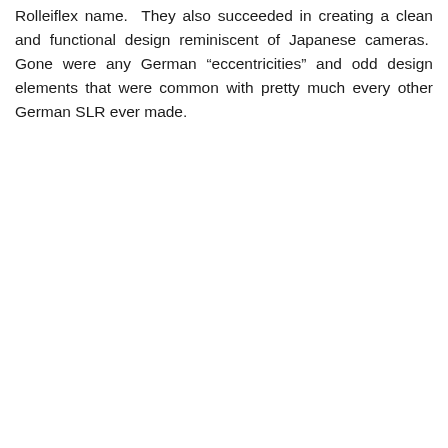Rolleiflex name.  They also succeeded in creating a clean and functional design reminiscent of Japanese cameras.  Gone were any German “eccentricities” and odd design elements that were common with pretty much every other German SLR ever made.